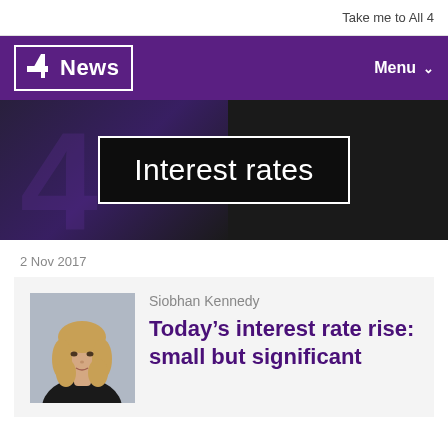Take me to All 4
[Figure (logo): Channel 4 News logo with purple navigation bar and Menu button]
[Figure (screenshot): Dark hero banner with large text box reading 'Interest rates' in white on black background with white border, overlaid on dark purple/grey background]
2 Nov 2017
[Figure (photo): Headshot of Siobhan Kennedy, a woman with blonde hair]
Siobhan Kennedy
Today’s interest rate rise: small but significant